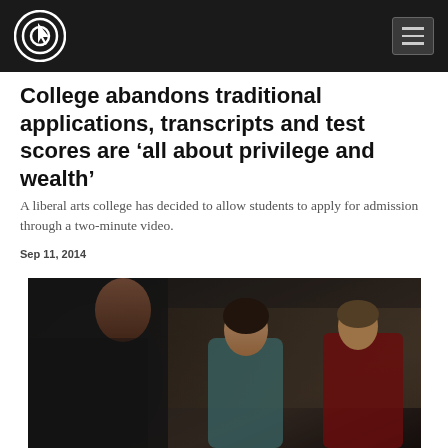College abandons traditional applications, transcripts and test scores are ‘all about privilege and wealth’
A liberal arts college has decided to allow students to apply for admission through a two-minute video.
Sep 11, 2014
[Figure (photo): A photograph showing people in what appears to be a courtroom or public hearing setting. A person in a dark uniform is visible in the foreground, with a young woman and another person visible in the background.]